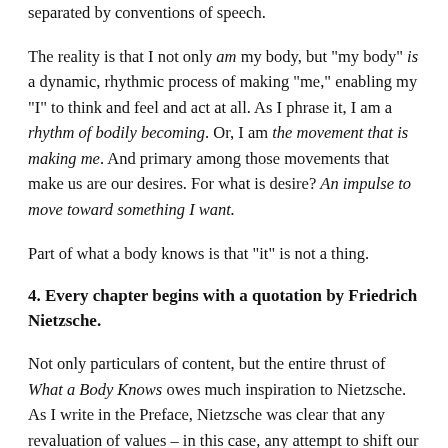separated by conventions of speech.
The reality is that I not only am my body, but "my body" is a dynamic, rhythmic process of making "me," enabling my "I" to think and feel and act at all. As I phrase it, I am a rhythm of bodily becoming. Or, I am the movement that is making me. And primary among those movements that make us are our desires. For what is desire? An impulse to move toward something I want.
Part of what a body knows is that "it" is not a thing.
4. Every chapter begins with a quotation by Friedrich Nietzsche.
Not only particulars of content, but the entire thrust of What a Body Knows owes much inspiration to Nietzsche. As I write in the Preface, Nietzsche was clear that any revaluation of values – in this case, any attempt to shift our perception of